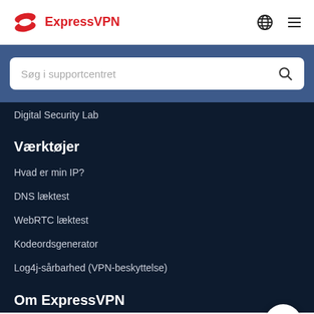ExpressVPN
Søg i supportcentret
Digital Security Lab
Værktøjer
Hvad er min IP?
DNS læktest
WebRTC læktest
Kodeordsgenerator
Log4j-sårbarhed (VPN-beskyttelse)
Om ExpressVPN